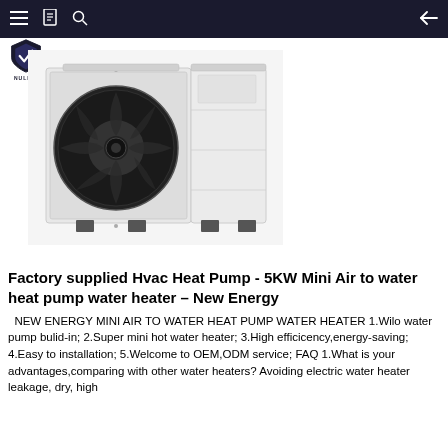≡  📋  🔍  ←
[Figure (photo): White heat pump unit with large black circular fan on the left side and a rectangular white cabinet section on the right, mounted on small black feet/legs.]
Factory supplied Hvac Heat Pump - 5KW Mini Air to water heat pump water heater – New Energy
NEW ENERGY MINI AIR TO WATER HEAT PUMP WATER HEATER 1.Wilo water pump bulid-in; 2.Super mini hot water heater; 3.High efficicency,energy-saving; 4.Easy to installation; 5.Welcome to OEM,ODM service; FAQ 1.What is your advantages,comparing with other water heaters? Avoiding electric water heater leakage, dry, high